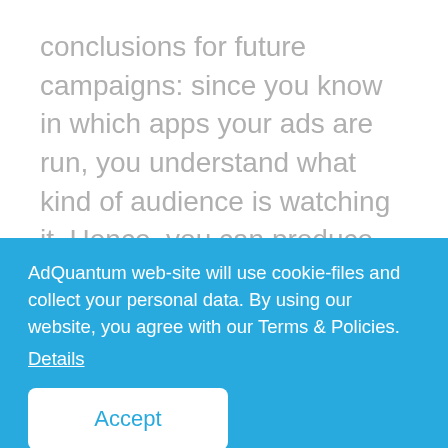conclusions for future campaigns: since you know in which apps your ads are run, you understand what kind of audience is watching it. Hence, you can produce creatives that will interest that particular audience.
In install campaigns, we recommend working with each major publisher individually. Namely: change bids for each of them, put them into separate campaigns with separate creatives.
AdQuantum web-site will use cookie-files and collect your personal data. By using our website, you agree with our Terms & Policies. Details
Accept